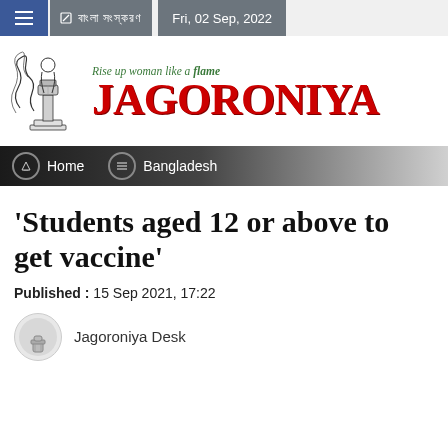Fri, 02 Sep, 2022
[Figure (logo): Jagoroniya news website logo with tagline 'Rise up woman like a flame' and decorative red stylized text 'JAGORONIYA' with a torch illustration]
Home | Bangladesh
'Students aged 12 or above to get vaccine'
Published : 15 Sep 2021, 17:22
Jagoroniya Desk